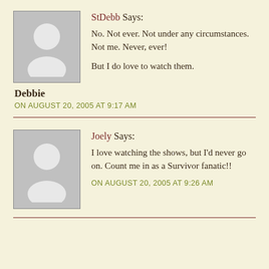[Figure (illustration): Placeholder avatar image with grey background showing a white silhouette of a person]
StDebb Says:

No. Not ever. Not under any circumstances. Not me. Never, ever!

But I do love to watch them.
Debbie
ON AUGUST 20, 2005 AT 9:17 AM
[Figure (illustration): Placeholder avatar image with grey background showing a white silhouette of a person]
Joely Says:

I love watching the shows, but I'd never go on. Count me in as a Survivor fanatic!!

ON AUGUST 20, 2005 AT 9:26 AM